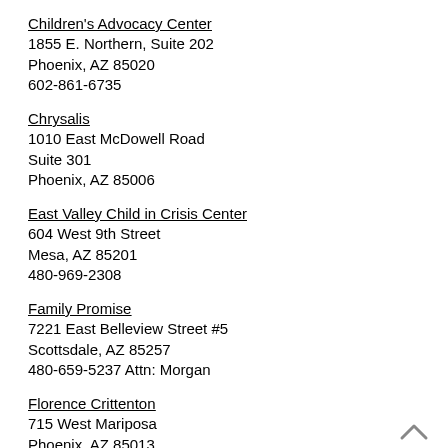Children's Advocacy Center
1855 E. Northern, Suite 202
Phoenix, AZ 85020
602-861-6735
Chrysalis
1010 East McDowell Road
Suite 301
Phoenix, AZ 85006
East Valley Child in Crisis Center
604 West 9th Street
Mesa, AZ 85201
480-969-2308
Family Promise
7221 East Belleview Street #5
Scottsdale, AZ 85257
480-659-5237 Attn: Morgan
Florence Crittenton
715 West Mariposa
Phoenix, AZ 85013
602-288-4567
Giving Tree / Grace Home
4888 East Broadway Blvd.
Tucson, AZ 85711